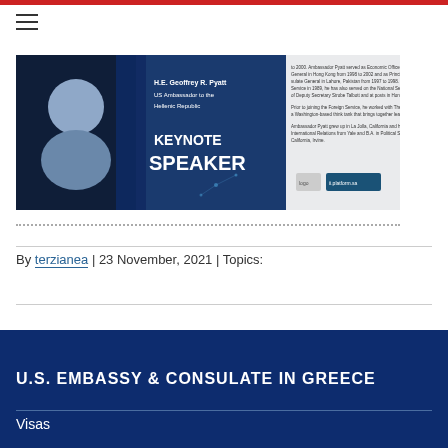[Figure (photo): Keynote Speaker banner featuring H.E. Geoffrey R. Pyatt, US Ambassador to the Hellenic Republic, with text about his biography on the right side and ii.platform.sa logo]
By terzianea | 23 November, 2021 | Topics:
U.S. EMBASSY & CONSULATE IN GREECE
Visas